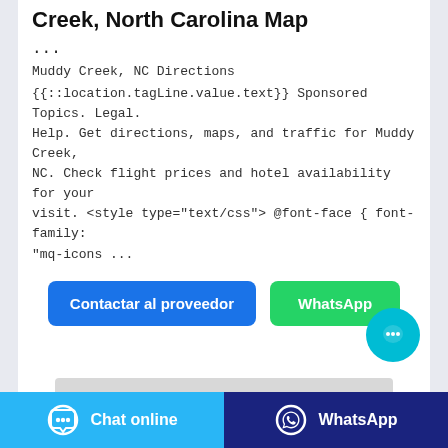Creek, North Carolina Map
...
Muddy Creek, NC Directions
{{::location.tagLine.value.text}} Sponsored Topics. Legal. Help. Get directions, maps, and traffic for Muddy Creek, NC. Check flight prices and hotel availability for your visit. <style type="text/css"> @font-face { font-family: "mq-icons ...
[Figure (other): Two buttons: 'Contactar al proveedor' (blue) and 'WhatsApp' (green), with a cyan chat bubble icon floating to the lower right]
[Figure (other): Gray placeholder bar/image]
Chat online | WhatsApp